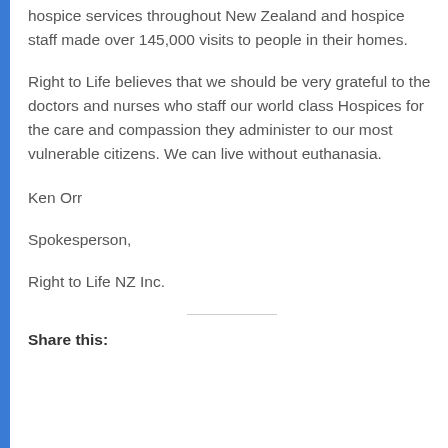hospice services throughout New Zealand and hospice staff made over 145,000 visits to people in their homes.
Right to Life believes that we should be very grateful to the doctors and nurses who staff our world class Hospices for the care and compassion they administer to our most vulnerable citizens. We can live without euthanasia.
Ken Orr
Spokesperson,
Right to Life NZ Inc.
Share this: